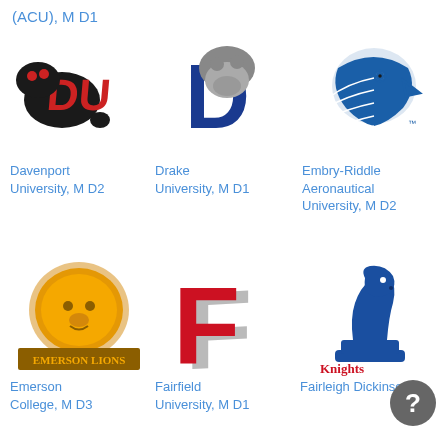(ACU), M D1
[Figure (logo): Davenport University Panthers logo - red DU letters with panther]
Davenport University, M D2
[Figure (logo): Drake University Bulldogs logo - blue D with bulldog]
Drake University, M D1
[Figure (logo): Embry-Riddle Aeronautical University Eagles logo - blue eagle head]
Embry-Riddle Aeronautical University, M D2
[Figure (logo): Emerson College Lions logo - gold lion with EMERSON LIONS text]
Emerson College, M D3
[Figure (logo): Fairfield University Stags logo - red F letter]
Fairfield University, M D1
[Figure (logo): Fairleigh Dickinson University Knights logo - blue knight chess piece with Knights text]
Fairleigh Dickinson University, M